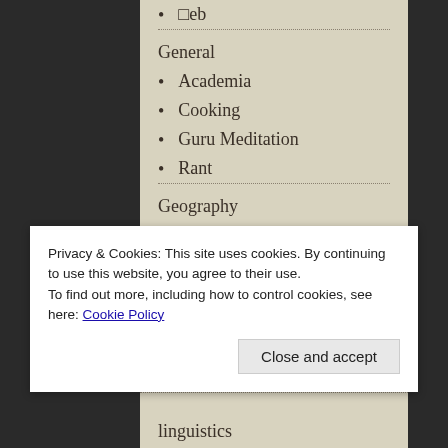⬜eb
General
Academia
Cooking
Guru Meditation
Rant
Geography
Cycling
Hikes
Japan
Zürich
Hack
Privacy & Cookies: This site uses cookies. By continuing to use this website, you agree to their use.
To find out more, including how to control cookies, see here: Cookie Policy
Close and accept
linguistics